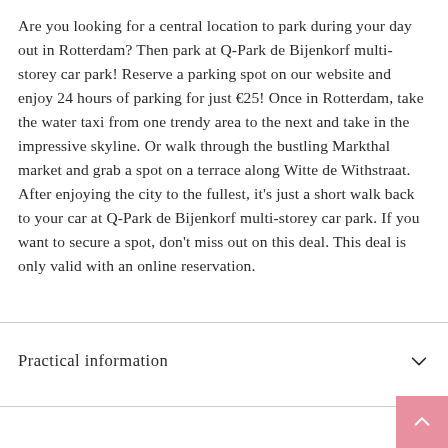Are you looking for a central location to park during your day out in Rotterdam? Then park at Q-Park de Bijenkorf multi-storey car park! Reserve a parking spot on our website and enjoy 24 hours of parking for just €25! Once in Rotterdam, take the water taxi from one trendy area to the next and take in the impressive skyline. Or walk through the bustling Markthal market and grab a spot on a terrace along Witte de Withstraat. After enjoying the city to the fullest, it's just a short walk back to your car at Q-Park de Bijenkorf multi-storey car park. If you want to secure a spot, don't miss out on this deal. This deal is only valid with an online reservation.
Practical information